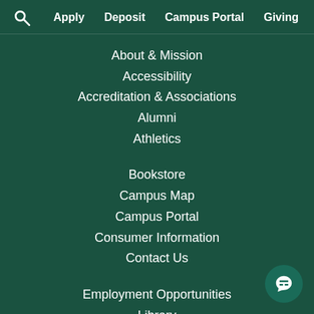Apply  Deposit  Campus Portal  Giving
About & Mission
Accessibility
Accreditation & Associations
Alumni
Athletics
Bookstore
Campus Map
Campus Portal
Consumer Information
Contact Us
Employment Opportunities
Library
Media
Nondiscrimination Policy
Parents